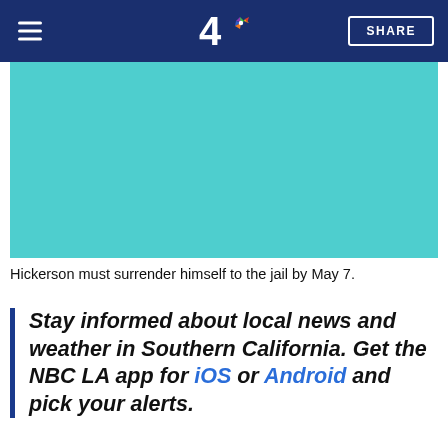NBC4 LA — hamburger menu, logo, SHARE button
[Figure (photo): Teal/turquoise colored image placeholder area below the navigation bar]
Hickerson must surrender himself to the jail by May 7.
Stay informed about local news and weather in Southern California. Get the NBC LA app for iOS or Android and pick your alerts.